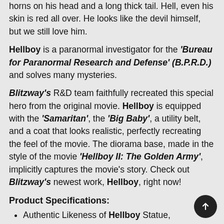horns on his head and a long thick tail. Hell, even his skin is red all over. He looks like the devil himself, but we still love him.
Hellboy is a paranormal investigator for the 'Bureau for Paranormal Research and Defense' (B.P.R.D.) and solves many mysteries.
Blitzway's R&D team faithfully recreated this special hero from the original movie. Hellboy is equipped with the 'Samaritan', the 'Big Baby', a utility belt, and a coat that looks realistic, perfectly recreating the feel of the movie. The diorama base, made in the style of the movie 'Hellboy II: The Golden Army', implicitly captures the movie's story. Check out Blitzway's newest work, Hellboy, right now!
Product Specifications:
Authentic Likeness of Hellboy Statue, approximately 70cm tall
Highly Detailed Fabric Coat
THE GOLDEN ARMY Element